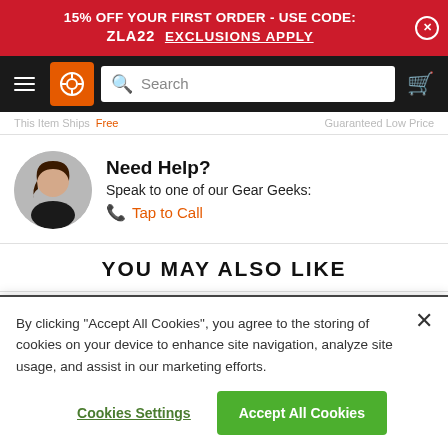15% OFF YOUR FIRST ORDER - USE CODE: ZLA22  Exclusions Apply
[Figure (screenshot): Navigation bar with hamburger menu, orange logo with gear icon, search box, and cart icon on black background]
This Item Ships Free   Guaranteed Low Price
Need Help?
Speak to one of our Gear Geeks:
Tap to Call
YOU MAY ALSO LIKE
By clicking “Accept All Cookies”, you agree to the storing of cookies on your device to enhance site navigation, analyze site usage, and assist in our marketing efforts.
Cookies Settings    Accept All Cookies